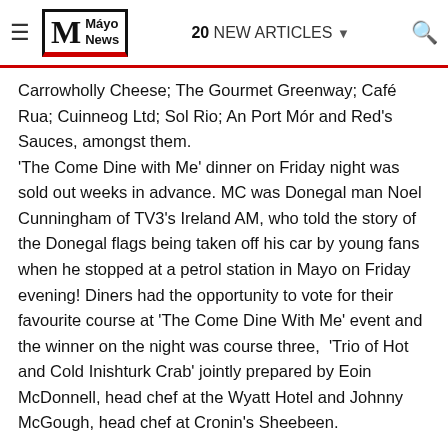Mayo News — 20 NEW ARTICLES
Carrowholly Cheese; The Gourmet Greenway; Café Rua; Cuinneog Ltd; Sol Rio; An Port Mór and Red's Sauces, amongst them. 'The Come Dine with Me' dinner on Friday night was sold out weeks in advance. MC was Donegal man Noel Cunningham of TV3's Ireland AM, who told the story of the Donegal flags being taken off his car by young fans when he stopped at a petrol station in Mayo on Friday evening! Diners had the opportunity to vote for their favourite course at 'The Come Dine With Me' event and the winner on the night was course three,  'Trio of Hot and Cold Inishturk Crab' jointly prepared by Eoin McDonnell, head chef at the Wyatt Hotel and Johnny McGough, head chef at Cronin's Sheebeen.